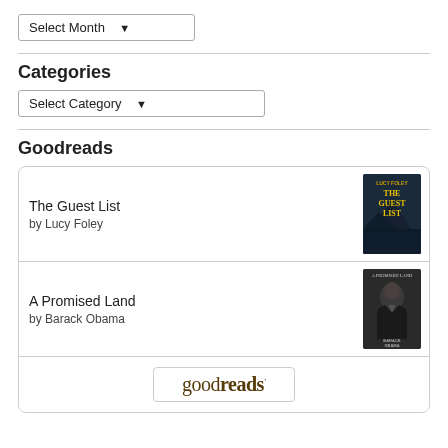Select Month ▾
Categories
Select Category ▾
Goodreads
[Figure (other): Goodreads widget showing two books: 'The Guest List by Lucy Foley' and 'A Promised Land by Barack Obama', with book cover thumbnails, followed by the Goodreads logo at the bottom.]